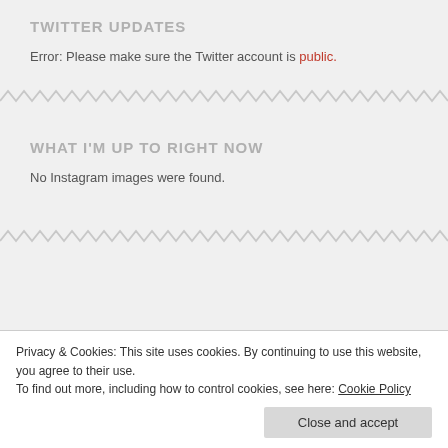TWITTER UPDATES
Error: Please make sure the Twitter account is public.
WHAT I'M UP TO RIGHT NOW
No Instagram images were found.
Privacy & Cookies: This site uses cookies. By continuing to use this website, you agree to their use.
To find out more, including how to control cookies, see here: Cookie Policy
Close and accept
Make Up  music  nails  outfits  Shoes  Skincare